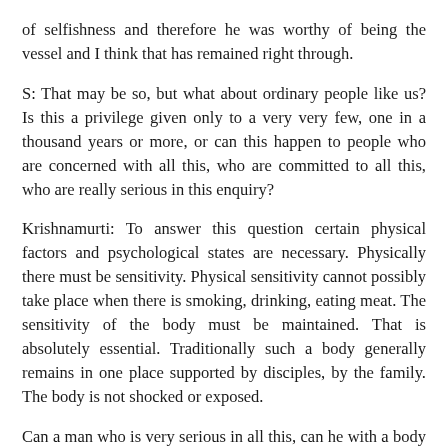of selfishness and therefore he was worthy of being the vessel and I think that has remained right through.
S: That may be so, but what about ordinary people like us? Is this a privilege given only to a very very few, one in a thousand years or more, or can this happen to people who are concerned with all this, who are committed to all this, who are really serious in this enquiry?
Krishnamurti: To answer this question certain physical factors and psychological states are necessary. Physically there must be sensitivity. Physical sensitivity cannot possibly take place when there is smoking, drinking, eating meat. The sensitivity of the body must be maintained. That is absolutely essential. Traditionally such a body generally remains in one place supported by disciples, by the family. The body is not shocked or exposed.
Can a man who is very serious in all this, can he with a body which has gone through the normal brutalizing